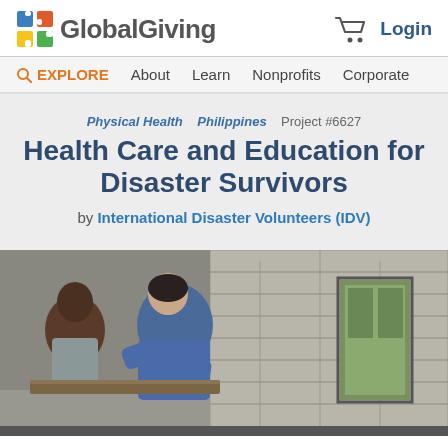GlobalGiving
EXPLORE  About  Learn  Nonprofits  Corporate
Physical Health  Philippines  Project #6627
Health Care and Education for Disaster Survivors
by International Disaster Volunteers (IDV)
[Figure (photo): A volunteer in a blue top leans over to assist a young person at a desk inside a concrete block building. Natural light comes through a doorway in the background.]